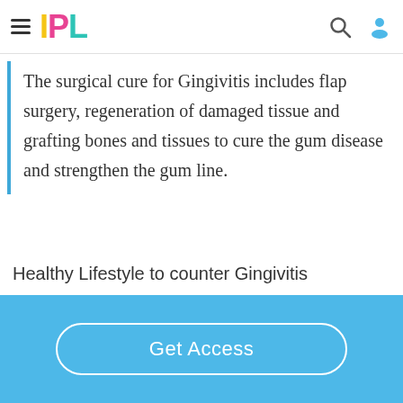IPL
The surgical cure for Gingivitis includes flap surgery, regeneration of damaged tissue and grafting bones and tissues to cure the gum disease and strengthen the gum line.
Healthy Lifestyle to counter Gingivitis
Get Access